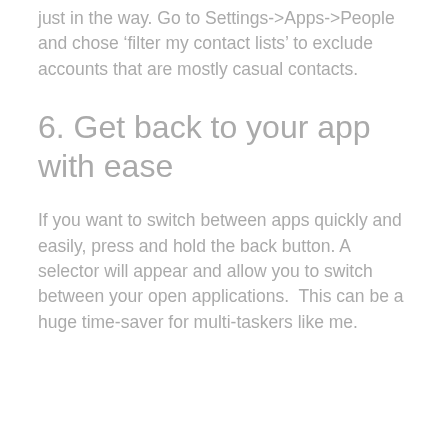just in the way. Go to Settings->Apps->People and chose 'filter my contact lists' to exclude accounts that are mostly casual contacts.
6. Get back to your app with ease
If you want to switch between apps quickly and easily, press and hold the back button. A selector will appear and allow you to switch between your open applications.  This can be a huge time-saver for multi-taskers like me.